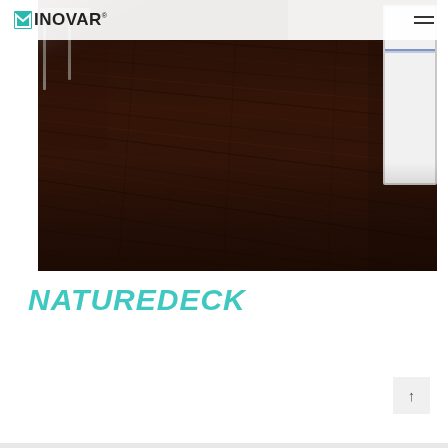INOVAR
[Figure (photo): Dark mahogany wood grain flooring in a room with white chair and furniture visible at edges]
NATUREDECK
↑ back to top button